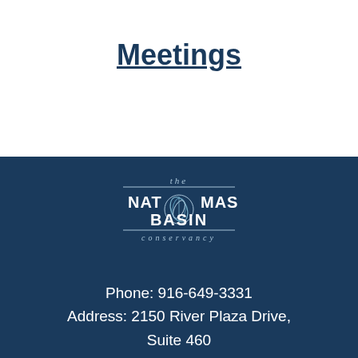Meetings
[Figure (logo): The Natomas Basin Conservancy logo — circular feather/plant graphic with text 'the NATOMAS BASIN conservancy' on dark blue background]
Phone: 916-649-3331
Address: 2150 River Plaza Drive, Suite 460
Sacramento, CA 95833